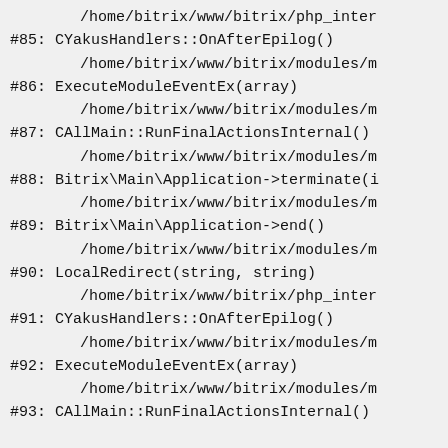/home/bitrix/www/bitrix/php_inter
#85: CYakusHandlers::OnAfterEpilog()
/home/bitrix/www/bitrix/modules/m
#86: ExecuteModuleEventEx(array)
/home/bitrix/www/bitrix/modules/m
#87: CAllMain::RunFinalActionsInternal()
/home/bitrix/www/bitrix/modules/m
#88: Bitrix\Main\Application->terminate(i
/home/bitrix/www/bitrix/modules/m
#89: Bitrix\Main\Application->end()
/home/bitrix/www/bitrix/modules/m
#90: LocalRedirect(string, string)
/home/bitrix/www/bitrix/php_inter
#91: CYakusHandlers::OnAfterEpilog()
/home/bitrix/www/bitrix/modules/m
#92: ExecuteModuleEventEx(array)
/home/bitrix/www/bitrix/modules/m
#93: CAllMain::RunFinalActionsInternal()